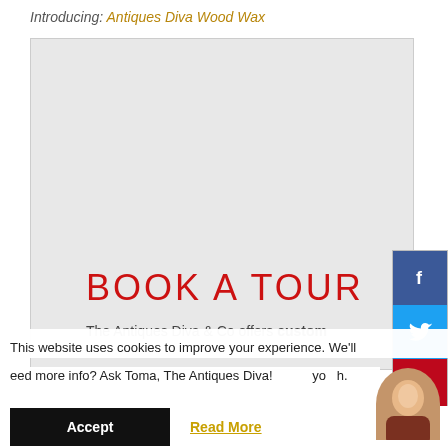Introducing: Antiques Diva Wood Wax
[Figure (screenshot): Large light grey image placeholder block for a website article about booking a tour. Contains red text 'BOOK A TOUR' and partial line 'The Antiques Diva & Co offers custom' at the bottom.]
[Figure (infographic): Social media sharing sidebar with Facebook (blue), Twitter (cyan), Pinterest (red), and Email (grey) icon buttons stacked vertically on the right edge.]
BOOK A TOUR
The Antiques Diva & Co offers custom
This website uses cookies to improve your experience. We'll
eed more info? Ask Toma, The Antiques Diva!
Accept
Read More